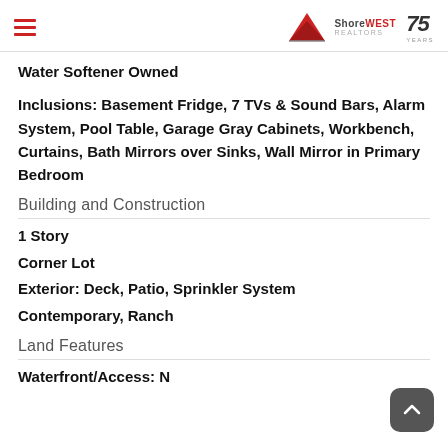ShoreWest 75 Years
Water Softener Owned
Inclusions: Basement Fridge, 7 TVs & Sound Bars, Alarm System, Pool Table, Garage Gray Cabinets, Workbench, Curtains, Bath Mirrors over Sinks, Wall Mirror in Primary Bedroom
Building and Construction
1 Story
Corner Lot
Exterior: Deck, Patio, Sprinkler System
Contemporary, Ranch
Land Features
Waterfront/Access: N